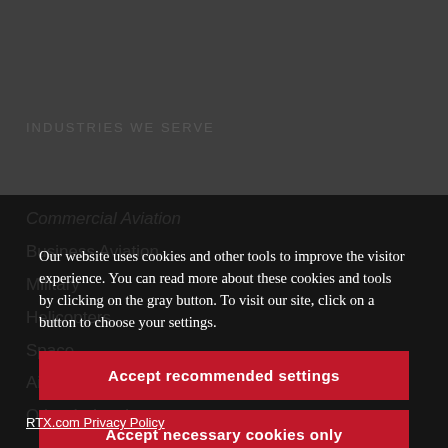INDUSTRIES WE SERVE
Commercial Aviation
Business Aviation
Military
Helicopters
Space
Aircraft MRO
Other Industries
Our website uses cookies and other tools to improve the visitor experience. You can read more about these cookies and tools by clicking on the gray button. To visit our site, click on a button to choose your settings.
Accept recommended settings
Accept necessary cookies only
Manage settings
RTX.com Privacy Policy